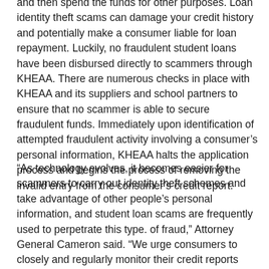and then spend the funds for other purposes. Loan identity theft scams can damage your credit history and potentially make a consumer liable for loan repayment. Luckily, no fraudulent student loans have been disbursed directly to scammers through KHEAA. There are numerous checks in place with KHEAA and its suppliers and school partners to ensure that no scammer is able to secure fraudulent funds. Immediately upon identification of attempted fraudulent activity involving a consumer's personal information, KHEAA halts the application process and begins the process of removing the invalid entry from the consumer's credit report.
“As technology evolves, it becomes easier for scammers to carry out identity theft schemes and take advantage of other people’s personal information, and student loan scams are frequently used to perpetrate this type. of fraud,” Attorney General Cameron said. “We urge consumers to closely and regularly monitor their credit reports and immediately report any suspected identity theft involving student loans to our office at